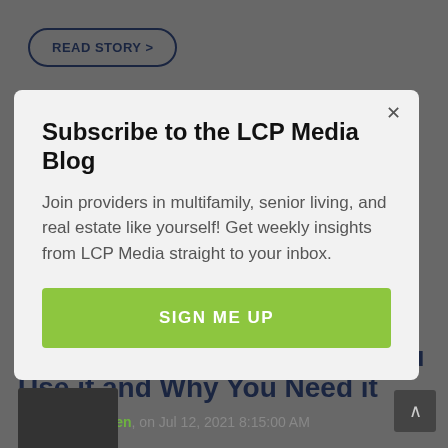READ STORY >
Subscribe to the LCP Media Blog
Join providers in multifamily, senior living, and real estate like yourself! Get weekly insights from LCP Media straight to your inbox.
SIGN ME UP
Purrookin: What is it, How You Use it and Why You Need it
by Caitlin Golden, on Jul 12, 2021 8:15:00 AM